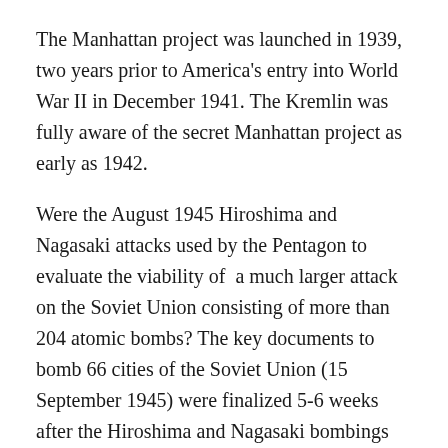The Manhattan project was launched in 1939, two years prior to America's entry into World War II in December 1941. The Kremlin was fully aware of the secret Manhattan project as early as 1942.
Were the August 1945 Hiroshima and Nagasaki attacks used by the Pentagon to evaluate the viability of a much larger attack on the Soviet Union consisting of more than 204 atomic bombs? The key documents to bomb 66 cities of the Soviet Union (15 September 1945) were finalized 5-6 weeks after the Hiroshima and Nagasaki bombings (6, 9 August 1945):
“On September 15, 1945 — just under two weeks after the formal surrender of Japan and the end of World War II — Norstad sent a copy of the estimate